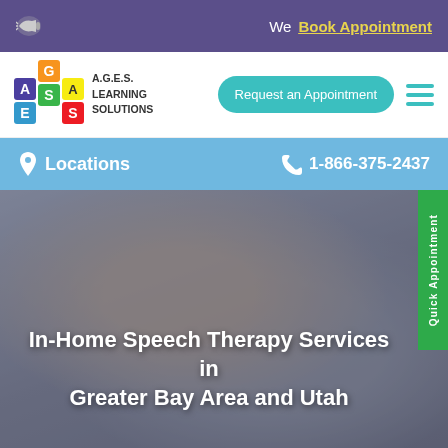We Book Appointment
[Figure (logo): A.G.E.S. Learning Solutions colorful block logo with letters A, G, E, S in red, orange, green, blue, yellow on purple background, with megaphone icon]
Request an Appointment
Locations   1-866-375-2437
[Figure (photo): Woman with glasses and short white/gray hair making speech sounds or teaching speech therapy, with a child in foreground holding alphabet tiles]
In-Home Speech Therapy Services in Greater Bay Area and Utah
Quick Appointment